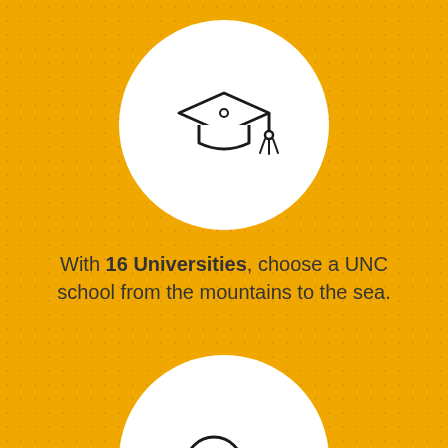[Figure (illustration): White circle on golden/yellow textured background containing a graduation cap (mortarboard) icon drawn in outline style]
With 16 Universities, choose a UNC school from the mountains to the sea.
[Figure (illustration): White circle on golden/yellow textured background containing a dollar sign coin/money icon drawn in outline style, partially cropped at bottom of page]